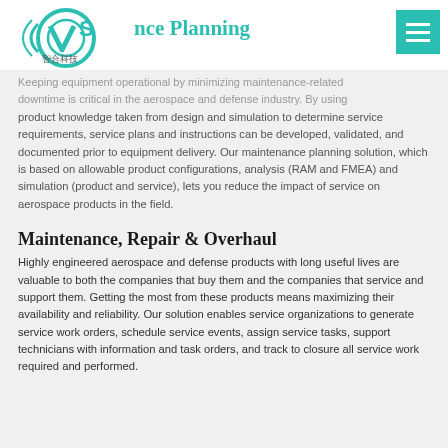[Figure (logo): VPS company logo with circular design and Chinese characters 智合科技]
Maintenance Planning
Keeping equipment operational by minimizing maintenance-related downtime is critical in the aerospace and defense industry. By using product knowledge taken from design and simulation to determine service requirements, service plans and instructions can be developed, validated, and documented prior to equipment delivery. Our maintenance planning solution, which is based on allowable product configurations, analysis (RAM and FMEA) and simulation (product and service), lets you reduce the impact of service on aerospace products in the field.
Maintenance, Repair & Overhaul
Highly engineered aerospace and defense products with long useful lives are valuable to both the companies that buy them and the companies that service and support them. Getting the most from these products means maximizing their availability and reliability. Our solution enables service organizations to generate service work orders, schedule service events, assign service tasks, support technicians with information and task orders, and track to closure all service work required and performed.